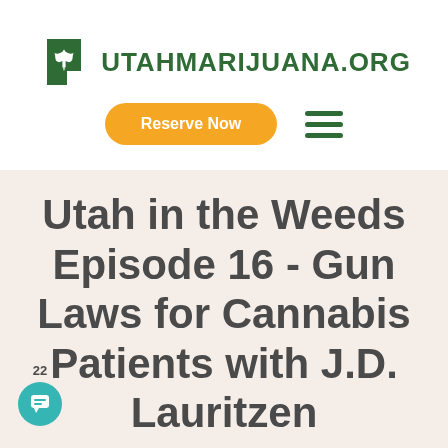[Figure (logo): Utah Marijuana .org logo with cannabis leaf icon inside a green Utah state shape, followed by text UTAHMARIJUANA.ORG in dark green]
[Figure (infographic): Navigation bar with orange rounded 'Reserve Now' button and green hamburger menu icon]
Utah in the Weeds Episode 16 - Gun Laws for Cannabis Patients with J.D. Lauritzen